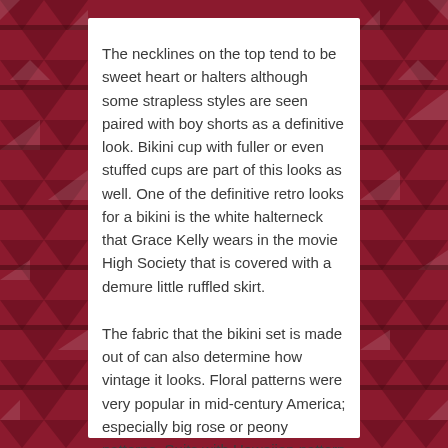The necklines on the top tend to be sweet heart or halters although some strapless styles are seen paired with boy shorts as a definitive look.  Bikini cup with fuller or even stuffed cups are part of this looks as well.  One of the definitive retro looks for a bikini is the white halterneck that Grace Kelly wears in the movie High Society that is covered with a demure little ruffled skirt.
The fabric that the bikini set is made out of can also determine how vintage it looks. Floral patterns were very popular in mid-century America; especially big rose or peony patterns.  Suits with Hawaiian pattern such as Hibiscus florals also make a bikini seem more retro.  Gingham checks also work well to make you look more like a pin-up.